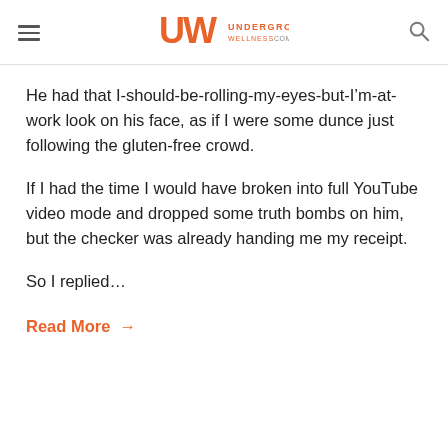Underground Wellness
He had that I-should-be-rolling-my-eyes-but-I’m-at-work look on his face, as if I were some dunce just following the gluten-free crowd.
If I had the time I would have broken into full YouTube video mode and dropped some truth bombs on him, but the checker was already handing me my receipt.
So I replied…
Read More →